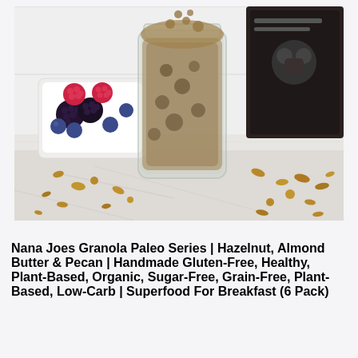[Figure (photo): Product photo of Nana Joes Granola in a glass mason jar on a marble surface, with a white bowl of mixed berries (raspberries, blackberries, blueberries) on the left, granola scattered on the surface, and a dark product package visible in the background top right.]
Nana Joes Granola Paleo Series | Hazelnut, Almond Butter & Pecan | Handmade Gluten-Free, Healthy, Plant-Based, Organic, Sugar-Free, Grain-Free, Plant-Based, Low-Carb | Superfood For Breakfast (6 Pack)